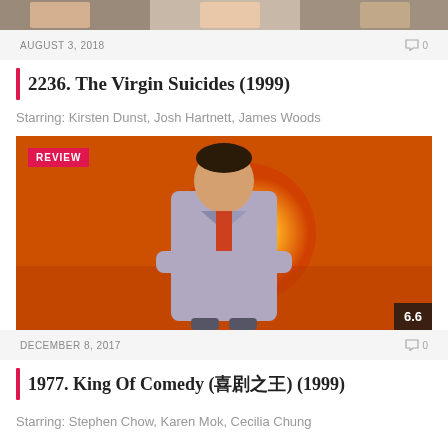[Figure (photo): Top cropped image strip showing people]
AUGUST 3, 2018
0
2236. The Virgin Suicides (1999)
Starring: Kirsten Dunst, Josh Hartnett, James Woods
[Figure (photo): Man in grey suit standing with arms crossed against orange/sunset background, with REVIEW badge top-left and rating 6.6 bottom-right]
DECEMBER 8, 2017
0
1977. King Of Comedy (喜剧之王) (1999)
Starring: Stephen Chow, Karen Mok, Cecilia Chung